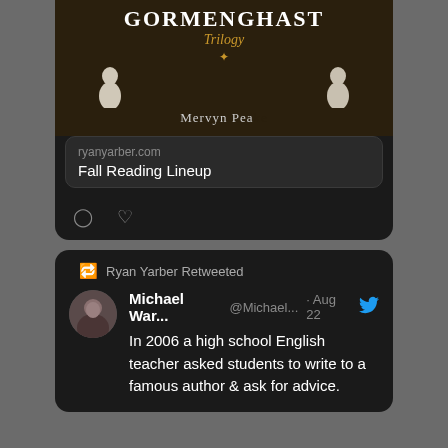[Figure (screenshot): Book cover preview for Gormenghast Trilogy with dark brown background, white title text, gold italic 'Trilogy' subtitle, star symbol, two white figure silhouettes, and partially visible 'Mervyn Peake' author text]
ryanyarber.com
Fall Reading Lineup
Ryan Yarber Retweeted
Michael War... @Michael... · Aug 22
In 2006 a high school English teacher asked students to write to a famous author & ask for advice.
I've Recently Read
Galápagos
by Kurt Vonnegut Jr.